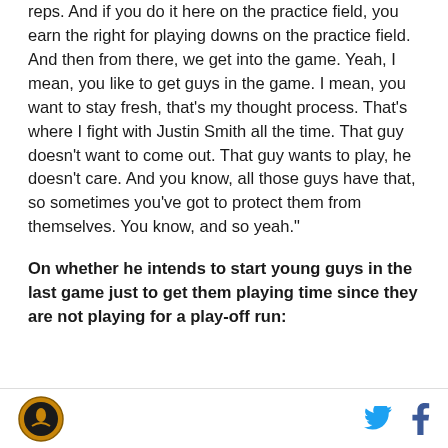reps. And if you do it here on the practice field, you earn the right for playing downs on the practice field. And then from there, we get into the game. Yeah, I mean, you like to get guys in the game. I mean, you want to stay fresh, that's my thought process. That's where I fight with Justin Smith all the time. That guy doesn't want to come out. That guy wants to play, he doesn't care. And you know, all those guys have that, so sometimes you've got to protect them from themselves. You know, and so yeah."
On whether he intends to start young guys in the last game just to get them playing time since they are not playing for a play-off run: